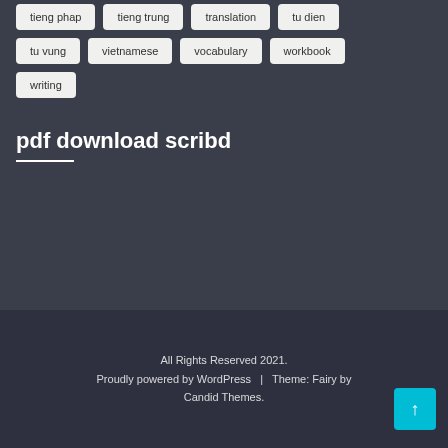tieng phap
tieng trung
translation
tu dien
tu vung
vietnamese
vocabulary
workbook
writing
pdf download scribd
All Rights Reserved 2021.
Proudly powered by WordPress  |  Theme: Fairy by Candid Themes.